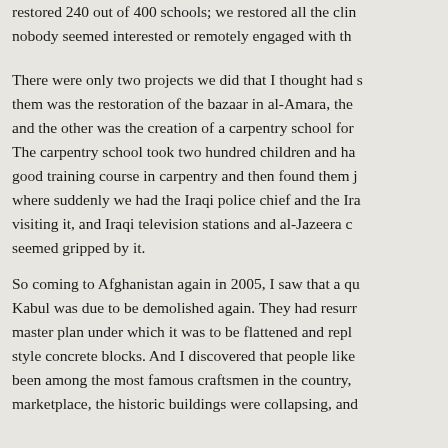restored 240 out of 400 schools; we restored all the clinics; nobody seemed interested or remotely engaged with th...
There were only two projects we did that I thought had s... them was the restoration of the bazaar in al-Amara, the... and the other was the creation of a carpentry school for... The carpentry school took two hundred children and ha... good training course in carpentry and then found them j... where suddenly we had the Iraqi police chief and the Ira... visiting it, and Iraqi television stations and al-Jazeera c... seemed gripped by it.
So coming to Afghanistan again in 2005, I saw that a qua... Kabul was due to be demolished again. They had resurr... master plan under which it was to be flattened and repla... style concrete blocks. And I discovered that people like... been among the most famous craftsmen in the country,... marketplace, the historic buildings were collapsing, and...